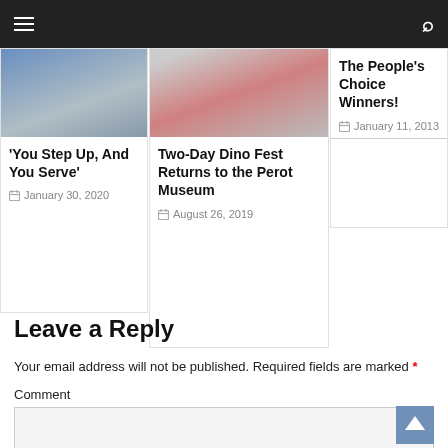Navigation bar with menu and search icons
[Figure (photo): Photo of people sitting, blue clothing visible]
'You Step Up, And You Serve'
January 30, 2020
[Figure (photo): Photo of child in red shirt leaning over surface]
Two-Day Dino Fest Returns to the Perot Museum
August 26, 2019
The People's Choice Winners!
January 11, 2013
Leave a Reply
Your email address will not be published. Required fields are marked *
Comment